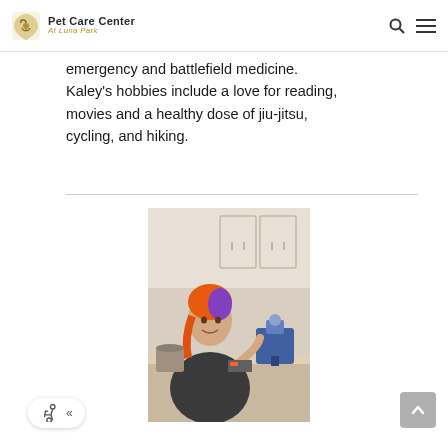Pet Care Center At Luna Park
emergency and battlefield medicine. Kaley's hobbies include a love for reading, movies and a healthy dose of jiu-jitsu, cycling, and hiking.
[Figure (photo): A person with bright orange and purple hair wearing a dark jacket, working at a laboratory bench next to a microscope in a clinical/veterinary lab setting.]